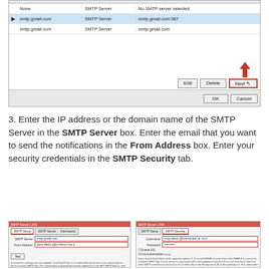[Figure (screenshot): A settings dialog showing a list of SMTP servers: 'None', 'smtp.gmail.com' (selected, smtp.gmail.com:587), and 'smtp.gmail.com' (smtp.gmail.com). Buttons at bottom: Edit, Delete, Next (highlighted with red border and red arrow pointing to it), OK, Cancel.]
3. Enter the IP address or the domain name of the SMTP Server in the SMTP Server box. Enter the email that you want to send the notifications in the From Address box. Enter your security credentials in the SMTP Security tab.
[Figure (screenshot): SMTP Server dialog with SMTP Setup tab selected (red border). Fields: SMTP Server (smtp.gmail.com, red border), From Address (filled, red border). A Test button is shown. Text at bottom describes SMTP configuration details.]
[Figure (screenshot): SMTP Server dialog with SMTP Security tab selected (red border). Fields: Username (smtp.alerts@brandmark.com), Password (dots). Enable SSL checkbox and Use Authentication checkbox. Text at bottom.]